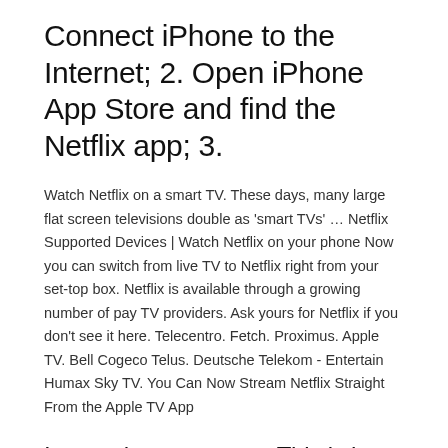Connect iPhone to the Internet; 2. Open iPhone App Store and find the Netflix app; 3.
Watch Netflix on a smart TV. These days, many large flat screen televisions double as 'smart TVs' … Netflix Supported Devices | Watch Netflix on your phone Now you can switch from live TV to Netflix right from your set-top box. Netflix is available through a growing number of pay TV providers. Ask yours for Netflix if you don't see it here. Telecentro. Fetch. Proximus. Apple TV. Bell Cogeco Telus. Deutsche Telekom - Entertain Humax Sky TV. You Can Now Stream Netflix Straight From the Apple TV App
Ignore the naysayers. This is how I do it. 1. When you do have access to WiFi, use the Netflix app to download the content you